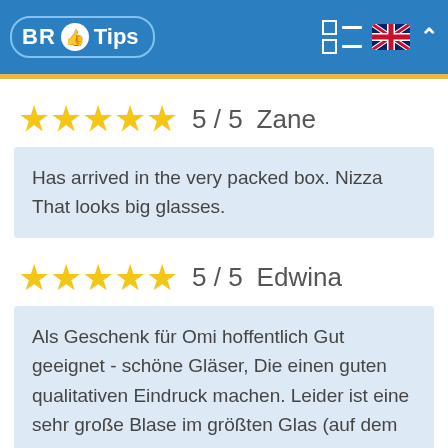[Figure (logo): BR Tips logo with thumbs up icon on blue header background, with menu icon, UK flag, and chevron]
5 / 5   Zane
Has arrived in the very packed box. Nizza That looks big glasses.
5 / 5   Edwina
Als Geschenk für Omi hoffentlich Gut geeignet - schöne Gläser, Die einen guten qualitativen Eindruck machen. Leider ist eine sehr große Blase im größten Glas (auf dem Bild sichtbar)